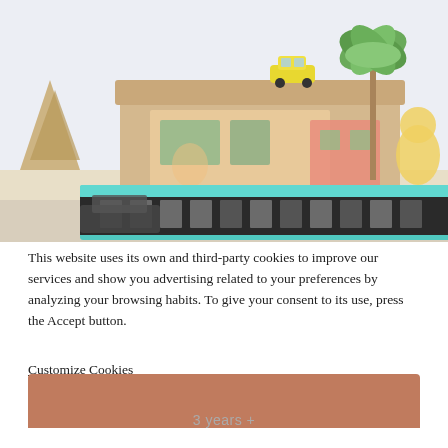[Figure (photo): Photo of colorful toy city scene with miniature buildings, a yellow toy car on a rooftop, a teal toy bus in the foreground, toy trees, and a palm tree cutout against a light background]
This website uses its own and third-party cookies to improve our services and show you advertising related to your preferences by analyzing your browsing habits. To give your consent to its use, press the Accept button.
Customize Cookies
[Figure (other): Terracotta/salmon colored product card bar]
3 years +